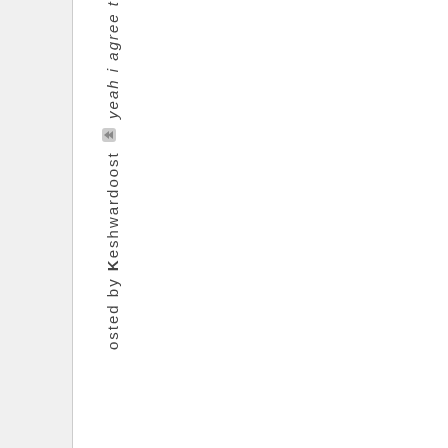osted by Keshwardoost ▶▶ yeah i agree t